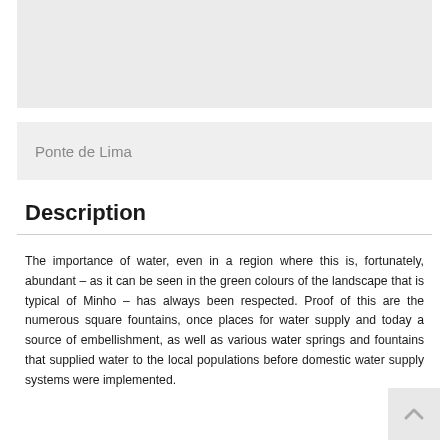[Figure (photo): Gray placeholder image area at top of page]
Ponte de Lima
Description
The importance of water, even in a region where this is, fortunately, abundant – as it can be seen in the green colours of the landscape that is typical of Minho – has always been respected. Proof of this are the numerous square fountains, once places for water supply and today a source of embellishment, as well as various water springs and fountains that supplied water to the local populations before domestic water supply systems were implemented.
The fountain on the main square of Ponte de